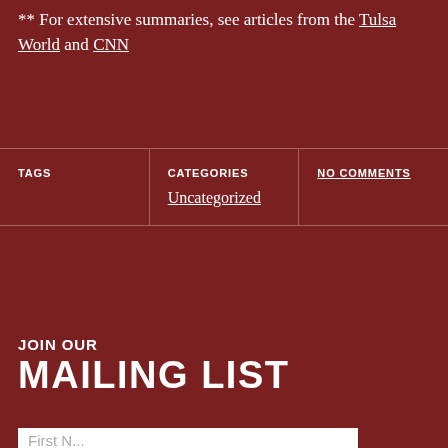** For extensive summaries, see articles from the Tulsa World and CNN
| TAGS | CATEGORIES | NO COMMENTS |
| --- | --- | --- |
|  | Uncategorized |  |
JOIN OUR MAILING LIST
First N...